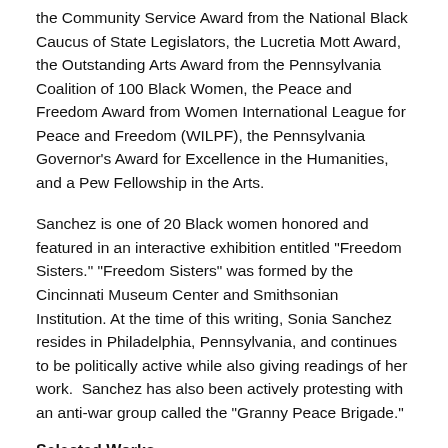the Community Service Award from the National Black Caucus of State Legislators, the Lucretia Mott Award, the Outstanding Arts Award from the Pennsylvania Coalition of 100 Black Women, the Peace and Freedom Award from Women International League for Peace and Freedom (WILPF), the Pennsylvania Governor's Award for Excellence in the Humanities, and a Pew Fellowship in the Arts.
Sanchez is one of 20 Black women honored and featured in an interactive exhibition entitled "Freedom Sisters." "Freedom Sisters" was formed by the Cincinnati Museum Center and Smithsonian Institution. At the time of this writing, Sonia Sanchez resides in Philadelphia, Pennsylvania, and continues to be politically active while also giving readings of her work.  Sanchez has also been actively protesting with an anti-war group called the "Granny Peace Brigade."
Selected Works